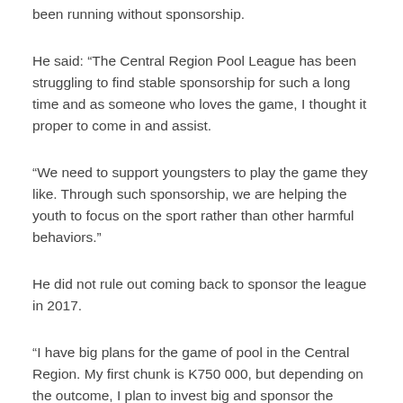been running without sponsorship.
He said: “The Central Region Pool League has been struggling to find stable sponsorship for such a long time and as someone who loves the game, I thought it proper to come in and assist.
“We need to support youngsters to play the game they like. Through such sponsorship, we are helping the youth to focus on the sport rather than other harmful behaviors.”
He did not rule out coming back to sponsor the league in 2017.
“I have big plans for the game of pool in the Central Region. My first chunk is K750 000, but depending on the outcome, I plan to invest big and sponsor the league annually,” said Chigamula.
A relieved CRPL chairperson Franco Banda thanked Chigamula for the sponsorship...